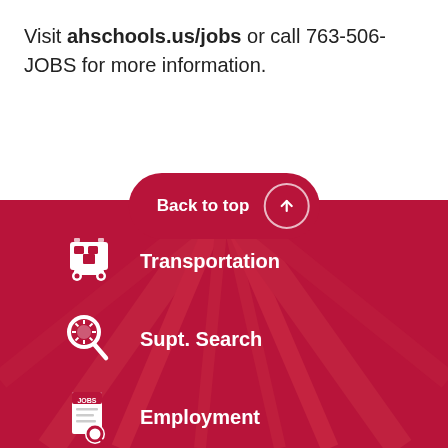Visit ahschools.us/jobs or call 763-506-JOBS for more information.
[Figure (infographic): Back to top button with upward arrow, followed by a dark red footer section with navigation icons: school bus (Transportation), magnifying glass with sun (Supt. Search), jobs document (Employment)]
Transportation
Supt. Search
Employment